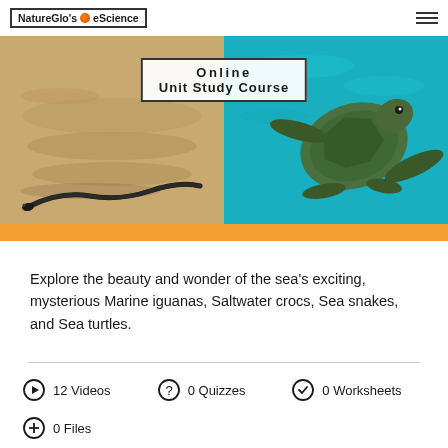NatureGlo's eScience
[Figure (photo): Hero banner with orange background. Left half shows a sea snake on sandy beach. Right half shows a sea turtle swimming underwater in teal water. Overlaid white box text reads 'Online Unit Study Course'.]
Explore the beauty and wonder of the sea's exciting, mysterious Marine iguanas, Saltwater crocs, Sea snakes, and Sea turtles.
12 Videos   0 Quizzes   0 Worksheets
0 Files